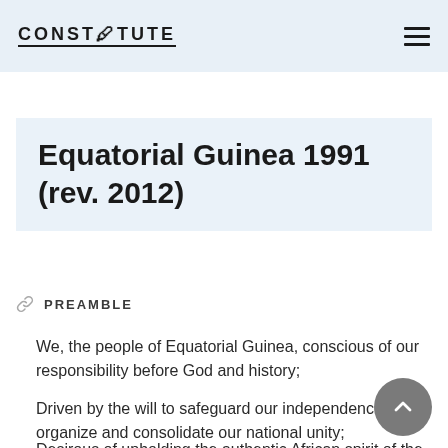CONSTITUTE
Equatorial Guinea 1991 (rev. 2012)
PREAMBLE
We, the people of Equatorial Guinea, conscious of our responsibility before God and history;
Driven by the will to safeguard our independence, organize and consolidate our national unity;
Desirous of upholding the authentic African spirit of the